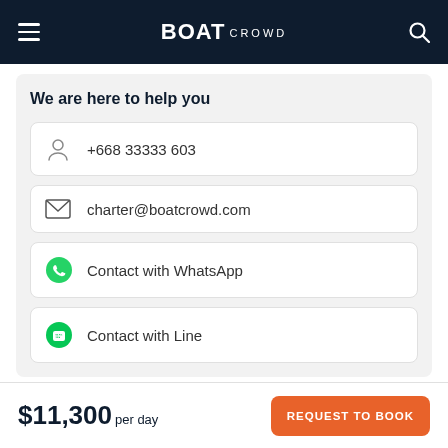BOAT CROWD
We are here to help you
+668 33333 603
charter@boatcrowd.com
Contact with WhatsApp
Contact with Line
Explore similar yachts to charter
$11,300 per day
REQUEST TO BOOK